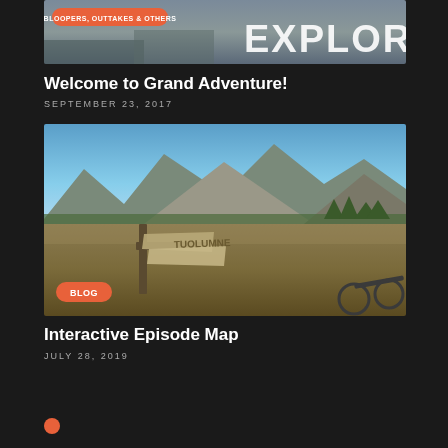[Figure (photo): Top image showing text 'EXPLORE!' with a badge overlay reading 'BLOOPERS, OUTTAKES & OTHERS' on an orange pill-shaped label. Mountain/landscape background visible.]
BLOOPERS, OUTTAKES & OTHERS
Welcome to Grand Adventure!
SEPTEMBER 23, 2017
[Figure (photo): Landscape photo showing mountains in the background with a meadow in the foreground. A weathered wooden trail sign is visible in the lower left. A 'BLOG' badge appears in orange at the bottom left of the image.]
BLOG
Interactive Episode Map
JULY 28, 2019